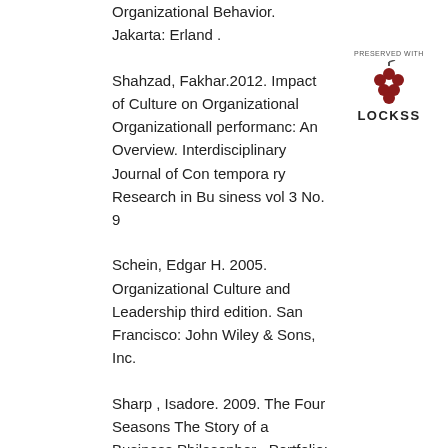Organizational Behavior. Jakarta: Erland .
[Figure (logo): LOCKSS preservation logo with text 'PRESERVED WITH' above a red grape cluster icon and 'LOCKSS' text below]
Shahzad, Fakhar.2012. Impact of Culture on Organizational Organizationall performanc: An Overview. Interdisciplinary Journal of Con tempora ry Research in Bu siness vol 3 No. 9
Schein, Edgar H. 2005. Organizational Culture and Leadership third edition. San Francisco: John Wiley & Sons, Inc.
Sharp , Isadore. 2009. The Four Seasons The Story of a Business Philosopher . Portfolio: New York .
Simanjuntak, J Payaman. 2003. Management and Performance Evaluation.